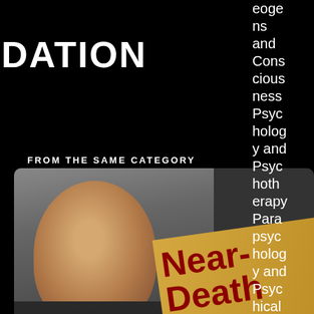DATION
eoge ns and Cons cious ness Psyc holog y and Psyc hoth erapy Para psyc holog y and Psyc hical Rese arch
FROM THE SAME CATEGORY
[Figure (photo): Video thumbnail showing a man's face on the left and a 'Near-Death Experience' sign/poster on a golden background on the right, with a New Thinking Allowed logo badge in upper right]
Near-Death Experience
Jeffrey Long
FROM THE SAME CATEGORY
[Figure (photo): Second video thumbnail partially visible at bottom, showing New Thinking Allowed logo on left and a person on the right]